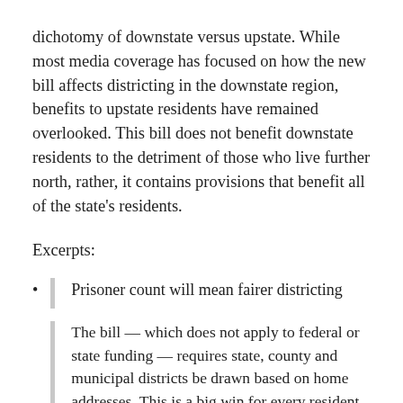dichotomy of downstate versus upstate. While most media coverage has focused on how the new bill affects districting in the downstate region, benefits to upstate residents have remained overlooked. This bill does not benefit downstate residents to the detriment of those who live further north, rather, it contains provisions that benefit all of the state's residents.
Excerpts:
Prisoner count will mean fairer districting

The bill — which does not apply to federal or state funding — requires state, county and municipal districts be drawn based on home addresses. This is a big win for every resident of Elmira who doesn't live next to the Elmira